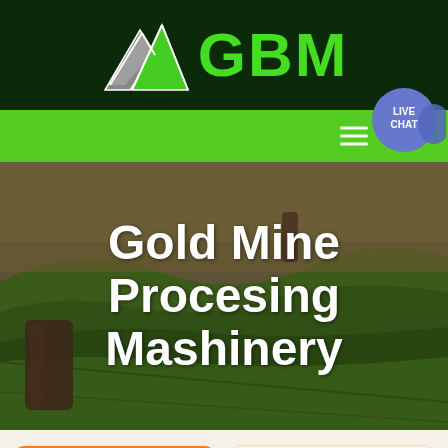[Figure (logo): GBM logo with mountain/arrow graphic on dark green background, green bold text GBM]
[Figure (screenshot): Green navigation bar with hamburger menu icon and Live Chat bubble (purple circle) in top-right corner]
[Figure (photo): Aerial photo of rolling green farmland/fields with dramatic landscape, used as hero background]
Gold Mine Procesing Mashinery
Get a Quote
WhatsApp